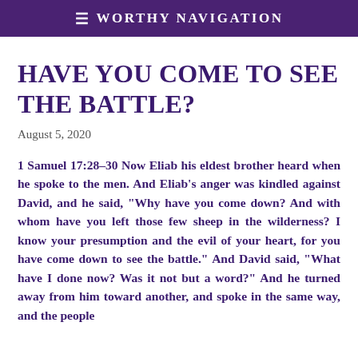≡ Worthy Navigation
Have you come to see the battle?
August 5, 2020
1 Samuel 17:28–30 Now Eliab his eldest brother heard when he spoke to the men. And Eliab's anger was kindled against David, and he said, "Why have you come down? And with whom have you left those few sheep in the wilderness? I know your presumption and the evil of your heart, for you have come down to see the battle." And David said, "What have I done now? Was it not but a word?" And he turned away from him toward another, and spoke in the same way, and the people answered him in the same way as before.